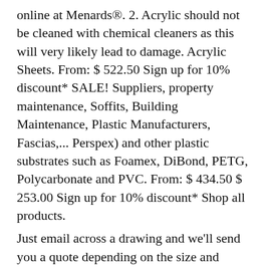online at Menards®. 2. Acrylic should not be cleaned with chemical cleaners as this will very likely lead to damage. Acrylic Sheets. From: $ 522.50 Sign up for 10% discount* SALE! Suppliers, property maintenance, Soffits, Building Maintenance, Plastic Manufacturers, Fascias,... Perspex) and other plastic substrates such as Foamex, DiBond, PETG, Polycarbonate and PVC. From: $ 434.50 $ 253.00 Sign up for 10% discount* Shop all products.
Just email across a drawing and we'll send you a quote depending on the size and complexity of what you require. It also protects new plastic from scratches and grime and restores plastic which has fine scratches and in ground grime. Share. Below is a wide range of Plexiglas®.